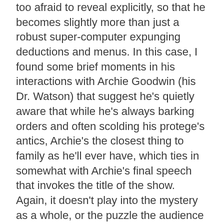too afraid to reveal explicitly, so that he becomes slightly more than just a robust super-computer expunging deductions and menus. In this case, I found some brief moments in his interactions with Archie Goodwin (his Dr. Watson) that suggest he's quietly aware that while he's always barking orders and often scolding his protege's antics, Archie's the closest thing to family as he'll ever have, which ties in somewhat with Archie's final speech that invokes the title of the show. Again, it doesn't play into the mystery as a whole, or the puzzle the audience is obviously attentive to, but it's an attempted step up with the character in this